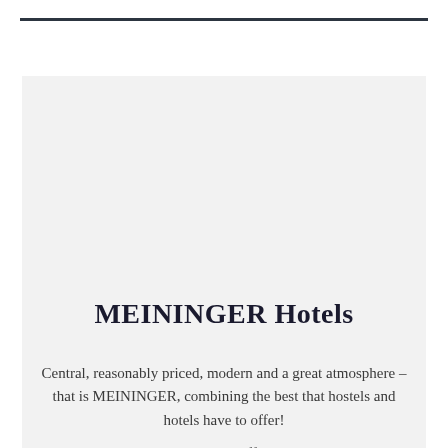MEININGER Hotels
Central, reasonably priced, modern and a great atmosphere – that is MEININGER, combining the best that hostels and hotels have to offer!
29 hotels in ten European cities offer ideal accommodation for city breaks, business travel, school trips, group tours,